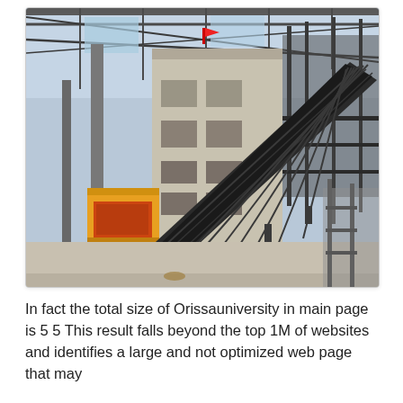[Figure (photo): Industrial facility interior showing heavy conveyor belt systems, steel structural framework, a large concrete tower/silo structure, and yellow-railed machinery platforms. The scene is inside a large warehouse-style building with a metal roof. A diagonal conveyor belt is prominently featured running from lower-left to upper-right.]
In fact the total size of Orissauniversity in main page is 5 5 This result falls beyond the top 1M of websites and identifies a large and not optimized web page that may